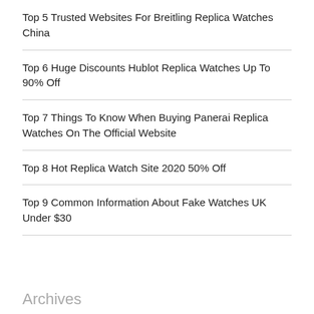Top 5 Trusted Websites For Breitling Replica Watches China
Top 6 Huge Discounts Hublot Replica Watches Up To 90% Off
Top 7 Things To Know When Buying Panerai Replica Watches On The Official Website
Top 8 Hot Replica Watch Site 2020 50% Off
Top 9 Common Information About Fake Watches UK Under $30
Archives